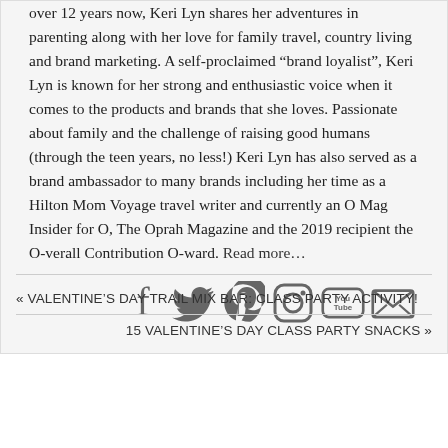over 12 years now, Keri Lyn shares her adventures in parenting along with her love for family travel, country living and brand marketing. A self-proclaimed “brand loyalist”, Keri Lyn is known for her strong and enthusiastic voice when it comes to the products and brands that she loves. Passionate about family and the challenge of raising good humans (through the teen years, no less!) Keri Lyn has also served as a brand ambassador to many brands including her time as a Hilton Mom Voyage travel writer and currently an O Mag Insider for O, The Oprah Magazine and the 2019 recipient the O-verall Contribution O-ward. Read more…
[Figure (infographic): Social media icons: Facebook, Twitter, Pinterest, Instagram, YouTube, Email]
« VALENTINE’S DAY TRAIL MIX BAR: CLASS PARTY ACTIVITY!
15 VALENTINE’S DAY CLASS PARTY SNACKS »